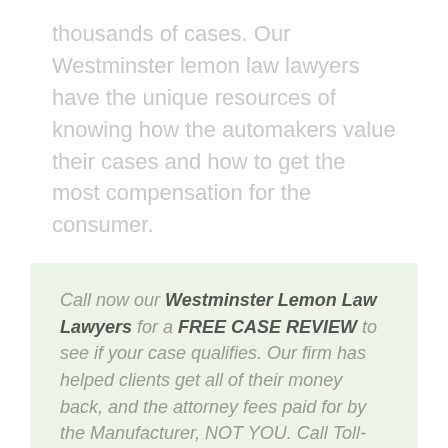thousands of cases. Our Westminster lemon law lawyers have the unique resources of knowing how the automakers value their cases and how to get the most compensation for the consumer.
Call now our Westminster Lemon Law Lawyers for a FREE CASE REVIEW to see if your case qualifies. Our firm has helped clients get all of their money back, and the attorney fees paid for by the Manufacturer, NOT YOU. Call Toll-Free: 1-888-744-5099, or Fill Out 'REQUEST CALLBACK' form for your free case review.